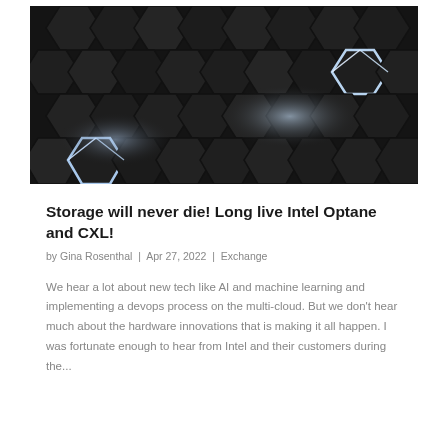[Figure (photo): Dark metallic hexagonal tiles/panels arranged in a pattern, with glowing white light edges visible on two of the hexagons, creating a futuristic technology aesthetic.]
Storage will never die! Long live Intel Optane and CXL!
by Gina Rosenthal | Apr 27, 2022 | Exchange
We hear a lot about new tech like AI and machine learning and implementing a devops process on the multi-cloud. But we don't hear much about the hardware innovations that is making it all happen. I was fortunate enough to hear from Intel and their customers during the...